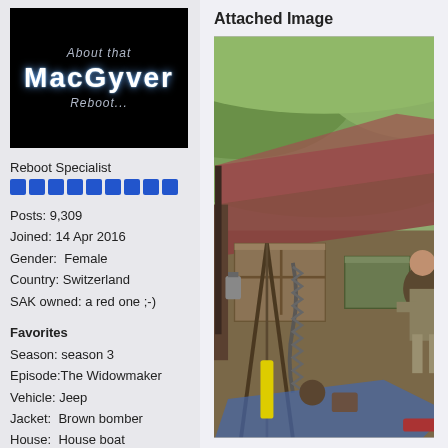[Figure (logo): MacGyver Reboot fan site logo — black background with 'About that' above the MacGyver title text and 'Reboot...' below]
Reboot Specialist
Posts: 9,309
Joined: 14 Apr 2016
Gender:  Female
Country: Switzerland
SAK owned: a red one ;-)
Favorites
Season: season 3
Episode:The Widowmaker
Vehicle: Jeep
Jacket:  Brown bomber
House:  House boat
Attached Image
[Figure (photo): Outdoor scene showing a makeshift shelter/tent with a person sitting inside, surrounded by equipment including chains, boxes, lanterns, and tools. Hillside with green vegetation in the background.]